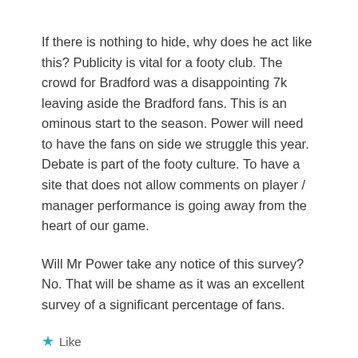If there is nothing to hide, why does he act like this? Publicity is vital for a footy club. The crowd for Bradford was a disappointing 7k leaving aside the Bradford fans. This is an ominous start to the season. Power will need to have the fans on side we struggle this year. Debate is part of the footy culture. To have a site that does not allow comments on player / manager performance is going away from the heart of our game.
Will Mr Power take any notice of this survey? No. That will be shame as it was an excellent survey of a significant percentage of fans.
Like
Reply